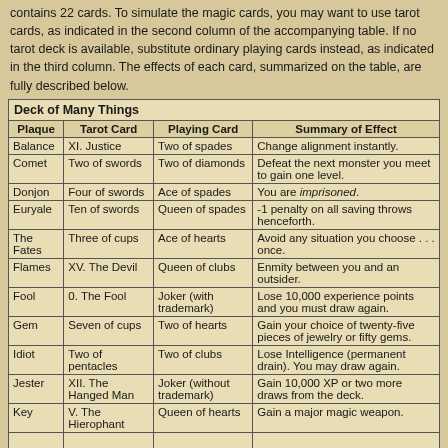contains 22 cards. To simulate the magic cards, you may want to use tarot cards, as indicated in the second column of the accompanying table. If no tarot deck is available, substitute ordinary playing cards instead, as indicated in the third column. The effects of each card, summarized on the table, are fully described below.
| Plaque | Tarot Card | Playing Card | Summary of Effect |
| --- | --- | --- | --- |
| Balance | XI. Justice | Two of spades | Change alignment instantly. |
| Comet | Two of swords | Two of diamonds | Defeat the next monster you meet to gain one level. |
| Donjon | Four of swords | Ace of spades | You are imprisoned. |
| Euryale | Ten of swords | Queen of spades | -1 penalty on all saving throws henceforth. |
| The Fates | Three of cups | Ace of hearts | Avoid any situation you choose . . . once. |
| Flames | XV. The Devil | Queen of clubs | Enmity between you and an outsider. |
| Fool | 0. The Fool | Joker (with trademark) | Lose 10,000 experience points and you must draw again. |
| Gem | Seven of cups | Two of hearts | Gain your choice of twenty-five pieces of jewelry or fifty gems. |
| Idiot | Two of pentacles | Two of clubs | Lose Intelligence (permanent drain). You may draw again. |
| Jester | XII. The Hanged Man | Joker (without trademark) | Gain 10,000 XP or two more draws from the deck. |
| Key | V. The Hierophant | Queen of hearts | Gain a major magic weapon. |